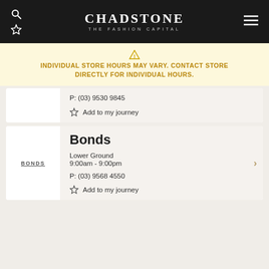CHADSTONE THE FASHION CAPITAL
INDIVIDUAL STORE HOURS MAY VARY. CONTACT STORE DIRECTLY FOR INDIVIDUAL HOURS.
P: (03) 9530 9845
Add to my journey
Bonds
Lower Ground
9:00am - 9:00pm
P: (03) 9568 4550
Add to my journey